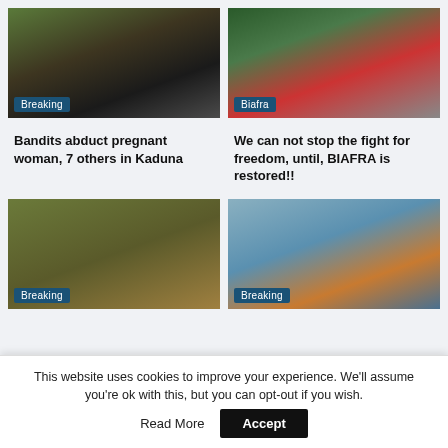[Figure (photo): Armed masked fighter with weapon, Breaking news badge overlay]
[Figure (photo): Crowd of people at rally with flags, Biafra badge overlay]
Bandits abduct pregnant woman, 7 others in Kaduna
We can not stop the fight for freedom, until, BIAFRA is restored!!
[Figure (photo): Soldiers in camouflage carrying a person, Breaking news badge overlay]
[Figure (photo): Capsized boat in water, Breaking news badge overlay]
This website uses cookies to improve your experience. We'll assume you're ok with this, but you can opt-out if you wish.
Accept
Read More